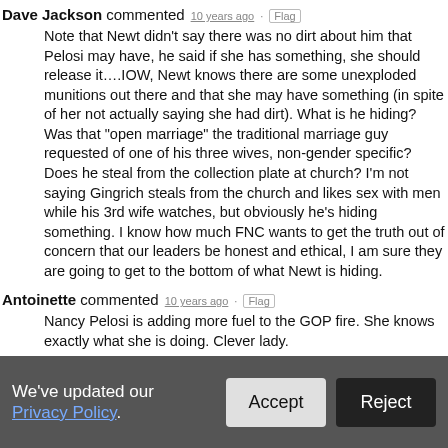Dave Jackson commented · 10 years ago · Flag
Note that Newt didn't say there was no dirt about him that Pelosi may have, he said if she has something, she should release it….IOW, Newt knows there are some unexploded munitions out there and that she may have something (in spite of her not actually saying she had dirt). What is he hiding? Was that "open marriage" the traditional marriage guy requested of one of his three wives, non-gender specific? Does he steal from the collection plate at church? I'm not saying Gingrich steals from the church and likes sex with men while his 3rd wife watches, but obviously he's hiding something. I know how much FNC wants to get the truth out of concern that our leaders be honest and ethical, I am sure they are going to get to the bottom of what Newt is hiding.
Antoinette commented · 10 years ago · Flag
Nancy Pelosi is adding more fuel to the GOP fire. She knows exactly what she is doing. Clever lady.

Our report from the GOP war front: A nasty verbal fight within the Republican Party has escalated.
We've updated our Privacy Policy. Accept Reject